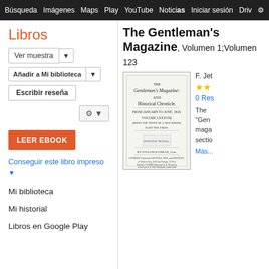Búsqueda  Imágenes  Maps  Play  YouTube  Noticias  Iniciar sesión  Drive  M
Libros
Ver muestra | Añadir a Mi biblioteca | Escribir reseña
LEER EBOOK
Conseguir este libro impreso ▼
Mi biblioteca
Mi historial
Libros en Google Play
The Gentleman's Magazine, Volumen 1;Volumen 123
[Figure (illustration): Book cover of The Gentleman's Magazine showing title page with text: 'The Gentleman's Magazine: and Historical Chronicle. From January to June, 1818. Volume LXXXVIII. (Being the Tenth of a New Series) Part the First. By Sylvanus Urban, Gent. London: Printed by Nichols, Son, and Bentley...']
F. Jet
★★
0 Res
The "Gen magazine sectio
Más...